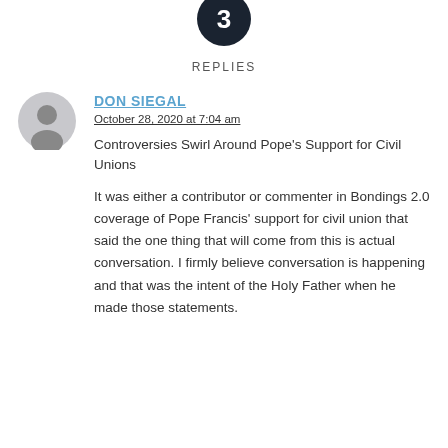3 REPLIES
[Figure (illustration): Generic user avatar icon, gray silhouette of a person in a circle]
DON SIEGAL
October 28, 2020 at 7:04 am
Controversies Swirl Around Pope's Support for Civil Unions
It was either a contributor or commenter in Bondings 2.0 coverage of Pope Francis' support for civil union that said the one thing that will come from this is actual conversation. I firmly believe conversation is happening and that was the intent of the Holy Father when he made those statements.